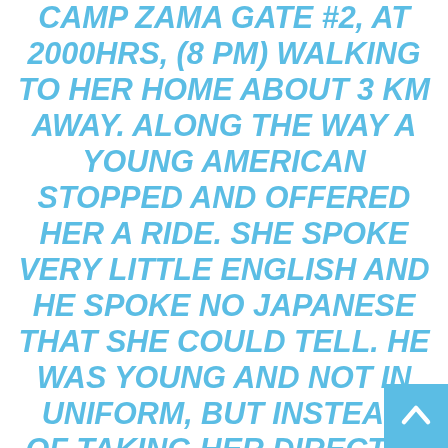CAMP ZAMA GATE #2, AT 2000HRS, (8 PM) WALKING TO HER HOME ABOUT 3 KM AWAY. ALONG THE WAY A YOUNG AMERICAN STOPPED AND OFFERED HER A RIDE. SHE SPOKE VERY LITTLE ENGLISH AND HE SPOKE NO JAPANESE THAT SHE COULD TELL. HE WAS YOUNG AND NOT IN UNIFORM, BUT INSTEAD OF TAKING HER DIRECTLY HOME HE PULLED OFF THE ROAD INTO A HARVESTED CORN FIELD, PULLED HER OUT OF THE CAR AND RAPED HER. SHE PUT HER CLOTHES BACK ON AND HE DROVE AWAY.